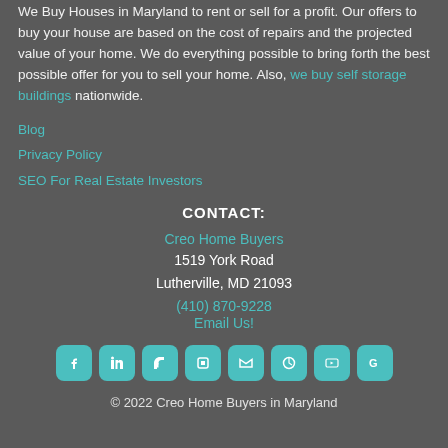We Buy Houses in Maryland to rent or sell for a profit. Our offers to buy your house are based on the cost of repairs and the projected value of your home. We do everything possible to bring forth the best possible offer for you to sell your home. Also, we buy self storage buildings nationwide.
Blog
Privacy Policy
SEO For Real Estate Investors
CONTACT:
Creo Home Buyers
1519 York Road
Lutherville, MD 21093
(410) 870-9228
Email Us!
[Figure (infographic): Row of 8 teal rounded square social media icons: Facebook, LinkedIn, Houzz, unknown, Twitter, Pinterest, YouTube, Google]
© 2022 Creo Home Buyers in Maryland